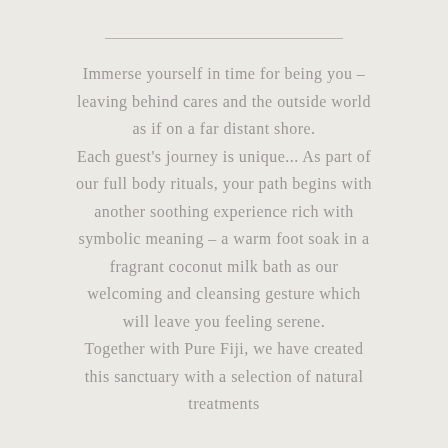Immerse yourself in time for being you – leaving behind cares and the outside world as if on a far distant shore. Each guest's journey is unique... As part of our full body rituals, your path begins with another soothing experience rich with symbolic meaning – a warm foot soak in a fragrant coconut milk bath as our welcoming and cleansing gesture which will leave you feeling serene. Together with Pure Fiji, we have created this sanctuary with a selection of natural treatments